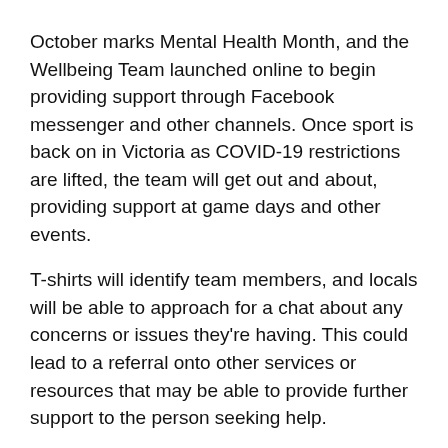October marks Mental Health Month, and the Wellbeing Team launched online to begin providing support through Facebook messenger and other channels. Once sport is back on in Victoria as COVID-19 restrictions are lifted, the team will get out and about, providing support at game days and other events.
T-shirts will identify team members, and locals will be able to approach for a chat about any concerns or issues they're having. This could lead to a referral onto other services or resources that may be able to provide further support to the person seeking help.
View the launch video on Facebook.
The LDAT partners involved are Alpine Health, Myrtleford Alpine Saints FNC and Myrtleford P-12 College.